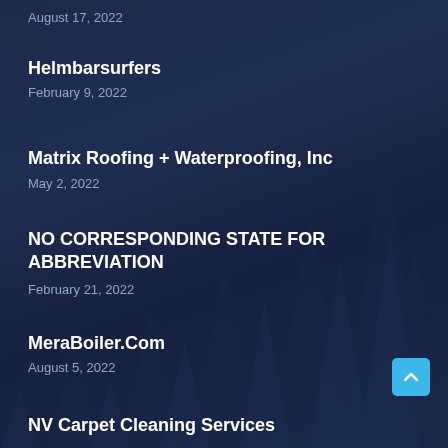August 17, 2022
Helmbarsurfers
February 9, 2022
Matrix Roofing + Waterproofing, Inc
May 2, 2022
NO CORRESPONDING STATE FOR ABBREVIATION
February 21, 2022
MeraBoiler.Com
August 5, 2022
NV Carpet Cleaning Services
[Figure (illustration): Dark blue night background with evergreen pine tree silhouettes in the lower right portion of the image]